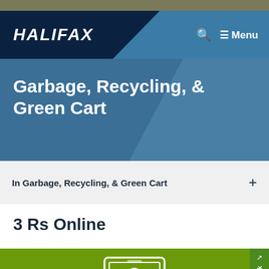Halifax
Garbage, Recycling, & Green Cart
In Garbage, Recycling, & Green Cart
3 Rs Online
[Figure (screenshot): Green background with a tablet/device icon illustration in white outline]